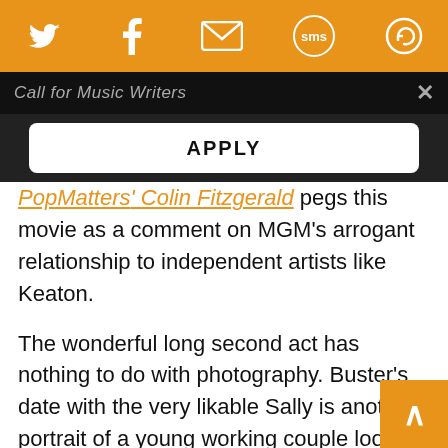Social share bar with Twitter, Facebook, Email, SMS, and another icon
Call for Music Writers
APPLY
PopMatters' Colin Fitzgerald pegs this movie as a comment on MGM's arrogant relationship to independent artists like Keaton.
The wonderful long second act has nothing to do with photography. Buster's date with the very likable Sally is another portrait of a young working couple looking for fun in the city, as in King Vidor's The Crowd of earlier the same year. They trav omnibus and spend time at a public indoor p